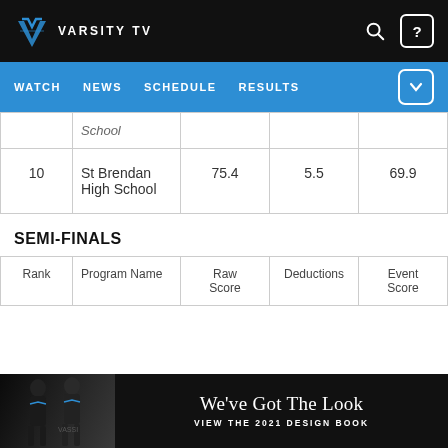VARSITY TV — WATCH | NEWS | SCHEDULE | RESULTS
| Rank | Program Name | Raw Score | Deductions | Event Score |
| --- | --- | --- | --- | --- |
|  | School |  |  |  |
| 10 | St Brendan High School | 75.4 | 5.5 | 69.9 |
SEMI-FINALS
| Rank | Program Name | Raw Score | Deductions | Event Score |
| --- | --- | --- | --- | --- |
[Figure (photo): Ad banner: We've Got The Look — VIEW THE 2021 DESIGN BOOK with cheerleaders in uniform]